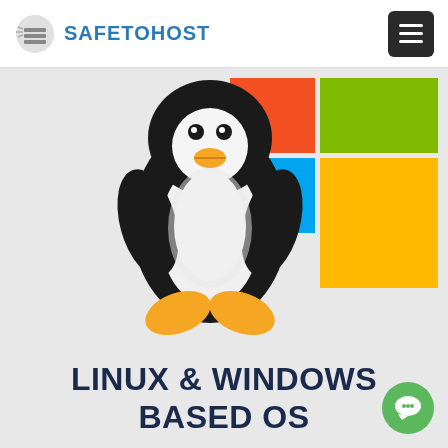[Figure (logo): SafeToHost logo with speed/server icon and blue text]
[Figure (illustration): Tux the Linux penguin mascot overlaid on a Microsoft Windows logo with colored quadrant tiles (red, green, blue, yellow/orange)]
LINUX & WINDOWS BASED OS